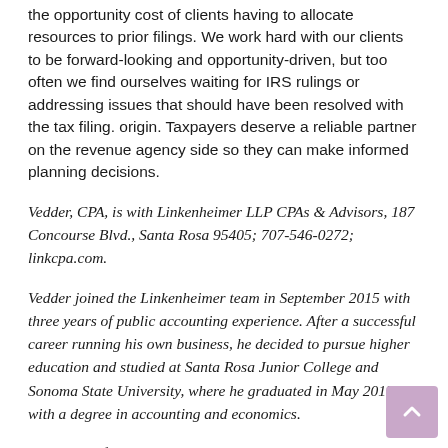the opportunity cost of clients having to allocate resources to prior filings. We work hard with our clients to be forward-looking and opportunity-driven, but too often we find ourselves waiting for IRS rulings or addressing issues that should have been resolved with the tax filing. origin. Taxpayers deserve a reliable partner on the revenue agency side so they can make informed planning decisions.
Vedder, CPA, is with Linkenheimer LLP CPAs & Advisors, 187 Concourse Blvd., Santa Rosa 95405; 707-546-0272; linkcpa.com.
Vedder joined the Linkenheimer team in September 2015 with three years of public accounting experience. After a successful career running his own business, he decided to pursue higher education and studied at Santa Rosa Junior College and Sonoma State University, where he graduated in May 2013 with a degree in accounting and economics.
A resident of Ukiah, Vedder enjoys the rural beauty and wide